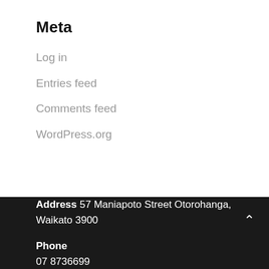Meta
Log in
Entries feed
Comments feed
WordPress.org
Address 57 Maniapoto Street Otorohanga, Waikato 3900
Phone
07 8736699